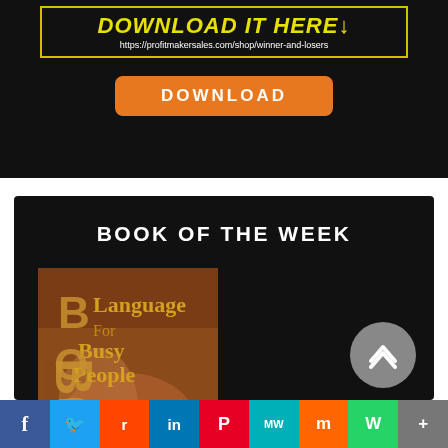[Figure (screenshot): Download It Here banner with yellow text and URL https://profitmakersales.com/shop/winner-and-losers on dark background with yellow border]
DOWNLOAD
[Figure (photo): Book cover for 'Body Language For Busy People' showing stylized text over a muscular body on dark background]
BOOK OF THE WEEK
[Figure (infographic): Social share bar with icons: Facebook, Twitter, Reddit, LinkedIn, Pinterest, MeWe, Mix, WhatsApp, More]